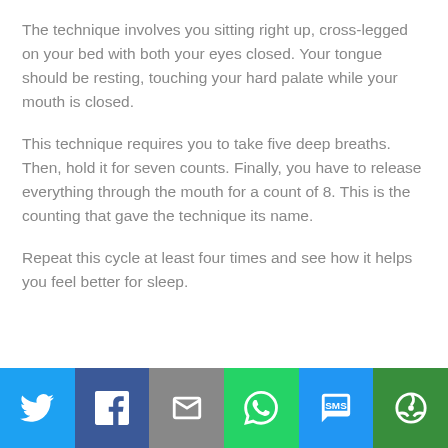The technique involves you sitting right up, cross-legged on your bed with both your eyes closed. Your tongue should be resting, touching your hard palate while your mouth is closed.
This technique requires you to take five deep breaths. Then, hold it for seven counts. Finally, you have to release everything through the mouth for a count of 8. This is the counting that gave the technique its name.
Repeat this cycle at least four times and see how it helps you feel better for sleep.
[Figure (infographic): Social media share bar with icons for Twitter, Facebook, Email, WhatsApp, SMS, and More (shown as colored buttons at the bottom of the page)]